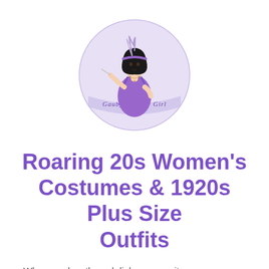[Figure (logo): Circular logo with a 1920s flapper woman illustration in purple dress, holding a cigarette holder, with feathered headband, with text 'Gauby Flapper Girl' along the bottom of the circle]
Roaring 20s Women's Costumes & 1920s Plus Size Outfits
When you buy through links on our site we may earn a commission at no cost to you. Learn more